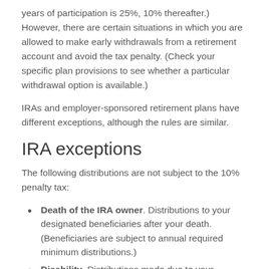years of participation is 25%, 10% thereafter.) However, there are certain situations in which you are allowed to make early withdrawals from a retirement account and avoid the tax penalty. (Check your specific plan provisions to see whether a particular withdrawal option is available.)
IRAs and employer-sponsored retirement plans have different exceptions, although the rules are similar.
IRA exceptions
The following distributions are not subject to the 10% penalty tax:
Death of the IRA owner. Distributions to your designated beneficiaries after your death. (Beneficiaries are subject to annual required minimum distributions.)
Disability. Distributions made due to your qualifying disability.
Unreimbursed medical expenses. Distributions equal to the amount of your